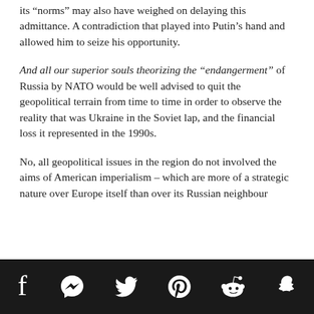its “norms” may also have weighed on delaying this admittance. A contradiction that played into Putin’s hand and allowed him to seize his opportunity.
And all our superior souls theorizing the “endangerment” of Russia by NATO would be well advised to quit the geopolitical terrain from time to time in order to observe the reality that was Ukraine in the Soviet lap, and the financial loss it represented in the 1990s.
No, all geopolitical issues in the region do not involved the aims of American imperialism – which are more of a strategic nature over Europe itself than over its Russian neighbour
Social share icons: Facebook, Messenger, Twitter, Pinterest, Reddit, Snapchat